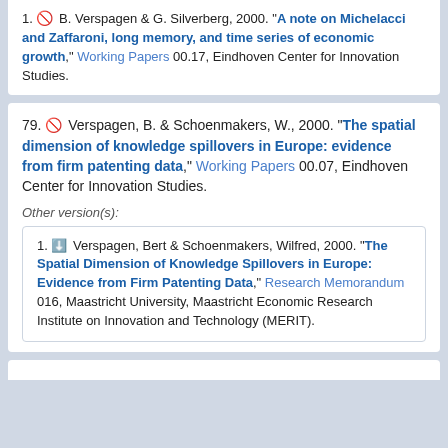1. [no-symbol] B. Verspagen & G. Silverberg, 2000. "A note on Michelacci and Zaffaroni, long memory, and time series of economic growth," Working Papers 00.17, Eindhoven Center for Innovation Studies.
79. [no-symbol] Verspagen, B. & Schoenmakers, W., 2000. "The spatial dimension of knowledge spillovers in Europe: evidence from firm patenting data," Working Papers 00.07, Eindhoven Center for Innovation Studies.
Other version(s):
1. [download] Verspagen, Bert & Schoenmakers, Wilfred, 2000. "The Spatial Dimension of Knowledge Spillovers in Europe: Evidence from Firm Patenting Data," Research Memorandum 016, Maastricht University, Maastricht Economic Research Institute on Innovation and Technology (MERIT).